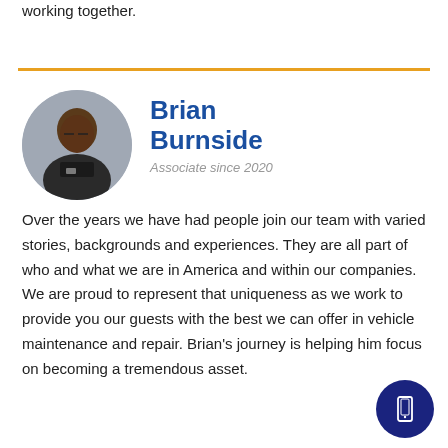working together.
[Figure (photo): Circular headshot photo of Brian Burnside, a man wearing a dark uniform shirt, photographed against a gray background.]
Brian Burnside
Associate since 2020
Over the years we have had people join our team with varied stories, backgrounds and experiences. They are all part of who and what we are in America and within our companies. We are proud to represent that uniqueness as we work to provide you our guests with the best we can offer in vehicle maintenance and repair. Brian's journey is helping him focus on becoming a tremendous asset.